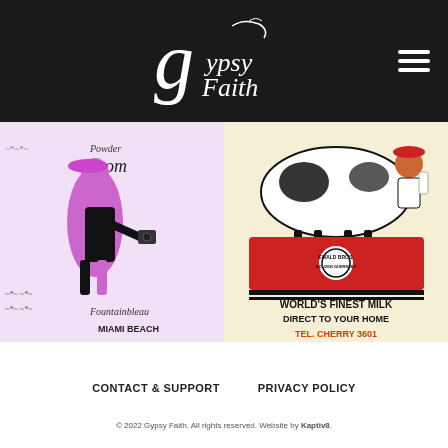Gypsy Faith
[Figure (illustration): Vintage stylized illustration of a woman in a pink/purple outfit with black accents, text reads 'Powder Room Fountainbleau MIAMI BEACH']
[Figure (illustration): Vintage advertisement for Ewald Bros. Golden Guernsey milk showing a cow, a child holding a milk bottle, and text: 'EWALD BROS. GOLDEN GUERNSEY | WORLD'S FINEST MILK | DIRECT TO YOUR HOME | TEL. CHERRY 3601']
CONTACT & SUPPORT
PRIVACY POLICY
© 2022 Gypsy Faith. All rights reserved. Website by Kaptiv8.